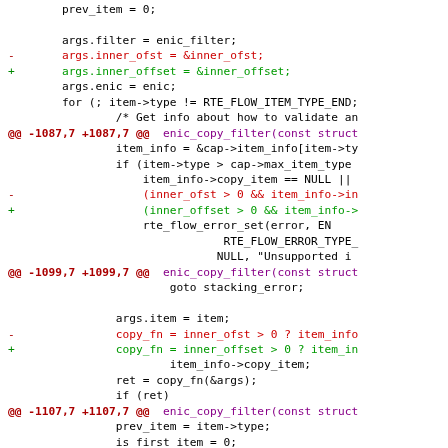[Figure (other): Code diff showing changes to enic_copy_filter function, replacing inner_ofst with inner_offset variable name across multiple locations]